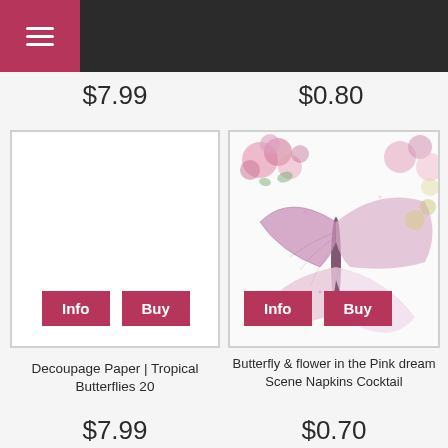Navigation header with hamburger menu
$7.99
$0.80
[Figure (photo): Product card for Decoupage Paper Tropical Butterflies 20 - white empty card with Info and Buy buttons]
[Figure (photo): Product card showing a butterfly made of pink flowers on white background with Info and Buy buttons]
Decoupage Paper | Tropical Butterflies 20
Butterfly & flower in the Pink dream Scene Napkins Cocktail
$7.99
$0.70